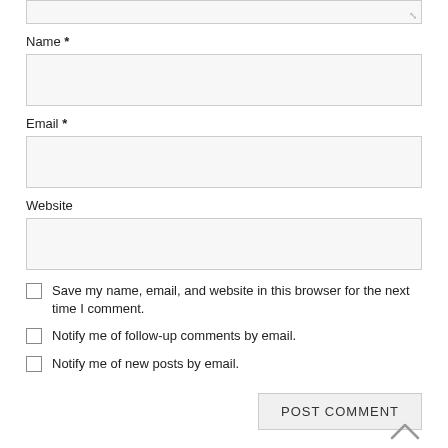Name *
Email *
Website
Save my name, email, and website in this browser for the next time I comment.
Notify me of follow-up comments by email.
Notify me of new posts by email.
POST COMMENT